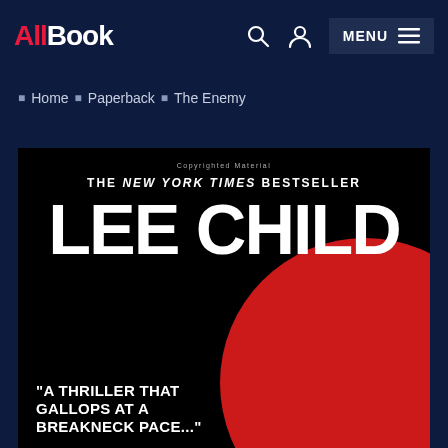AllBook — MENU
Home › Paperback › The Enemy
[Figure (photo): Book cover for 'The Enemy' by Lee Child. Black background with large white bold text 'LEE CHILD'. Top text reads 'THE NEW YORK TIMES BESTSELLER'. Red circular shape in lower right. Bottom left text reads 'A THRILLER THAT GALLOPS AT A BREAKNECK PACE'. Small text at top center reads 'Copyrighted Material'.]